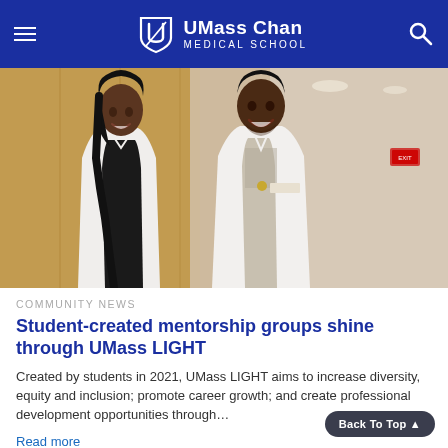UMass Chan Medical School
[Figure (photo): Two medical students in white lab coats smiling, standing in a hospital corridor with warm wood-paneled walls]
COMMUNITY NEWS
Student-created mentorship groups shine through UMass LIGHT
Created by students in 2021, UMass LIGHT aims to increase diversity, equity and inclusion; promote career growth; and create professional development opportunities through…
Read more